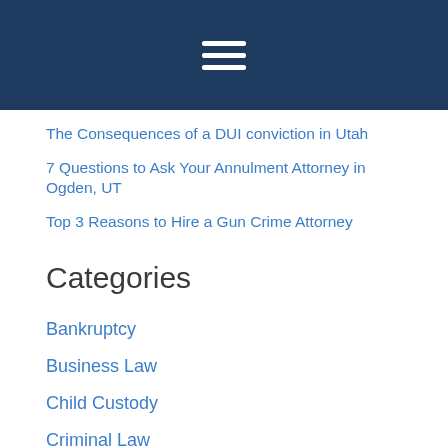[Figure (other): Dark navy blue header bar with hamburger menu icon (three white horizontal lines)]
The Consequences of a DUI conviction in Utah
7 Questions to Ask Your Annulment Attorney in Ogden, UT
Top 3 Reasons to Hire a Gun Crime Attorney
Categories
Bankruptcy
Business Law
Child Custody
Criminal Law
DUI
Estate Planning
Family Law